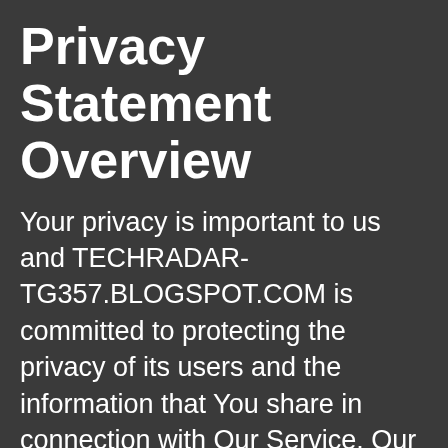Privacy Statement Overview
Your privacy is important to us and TECHRADAR-TG357.BLOGSPOT.COM is committed to protecting the privacy of its users and the information that You share in connection with Our Service. Our Privacy Notice describes how We share and transfer Personal Data (defined in the Privacy Policy below) that You voluntarily provide Us and Our Privacy Policy provides a more detailed description of how We